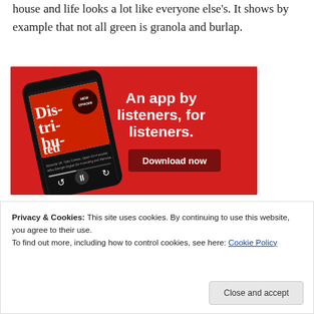house and life looks a lot like everyone else's. It shows by example that not all green is granola and burlap.
[Figure (illustration): Advertisement banner with red background showing a smartphone displaying a podcast episode called 'Distributed', with white bold text reading 'An app by listeners, for listeners.' and a dark red 'Download now' button.]
Privacy & Cookies: This site uses cookies. By continuing to use this website, you agree to their use.
To find out more, including how to control cookies, see here: Cookie Policy
Close and accept